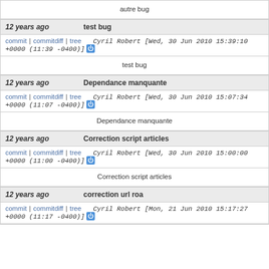autre bug
12 years ago   test bug
commit | commitdiff | tree   Cyril Robert [Wed, 30 Jun 2010 15:39:10 +0000 (11:39 -0400)]
test bug
12 years ago   Dependance manquante
commit | commitdiff | tree   Cyril Robert [Wed, 30 Jun 2010 15:07:34 +0000 (11:07 -0400)]
Dependance manquante
12 years ago   Correction script articles
commit | commitdiff | tree   Cyril Robert [Wed, 30 Jun 2010 15:00:00 +0000 (11:00 -0400)]
Correction script articles
12 years ago   correction url roa
commit | commitdiff | tree   Cyril Robert [Mon, 21 Jun 2010 15:17:27 +0000 (11:17 -0400)]